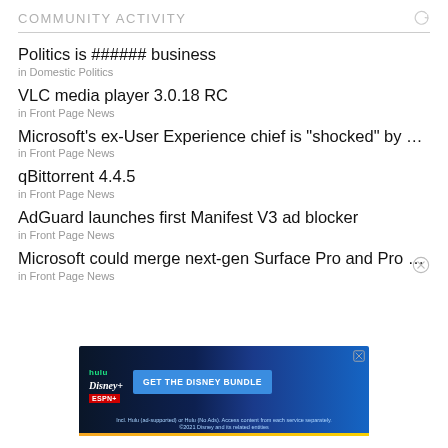COMMUNITY ACTIVITY
Politics is ###### business
in Domestic Politics
VLC media player 3.0.18 RC
in Front Page News
Microsoft's ex-User Experience chief is "shocked" by po...
in Front Page News
qBittorrent 4.4.5
in Front Page News
AdGuard launches first Manifest V3 ad blocker
in Front Page News
Microsoft could merge next-gen Surface Pro and Pro X ...
in Front Page News
[Figure (screenshot): Disney Bundle advertisement banner with Hulu, Disney+, ESPN+ logos and 'GET THE DISNEY BUNDLE' call to action]